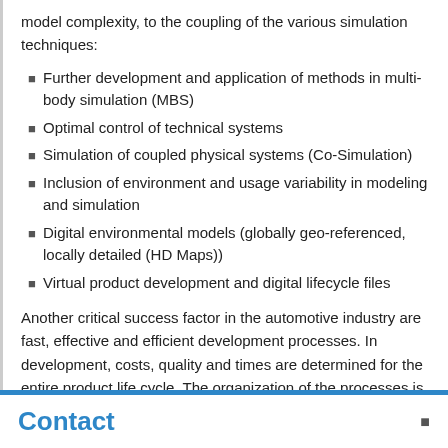model complexity, to the coupling of the various simulation techniques:
Further development and application of methods in multi-body simulation (MBS)
Optimal control of technical systems
Simulation of coupled physical systems (Co-Simulation)
Inclusion of environment and usage variability in modeling and simulation
Digital environmental models (globally geo-referenced, locally detailed (HD Maps))
Virtual product development and digital lifecycle files
Another critical success factor in the automotive industry are fast, effective and efficient development processes. In development, costs, quality and times are determined for the entire product life cycle. The organization of the processes is just as important as the methodological tools and the IT infrastructure. The
Contact